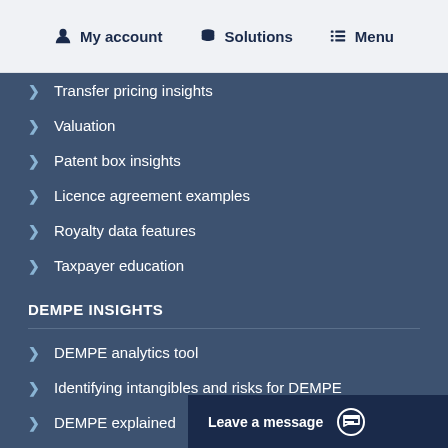My account  Solutions  Menu
Transfer pricing insights
Valuation
Patent box insights
Licence agreement examples
Royalty data features
Taxpayer education
DEMPE INSIGHTS
DEMPE analytics tool
Identifying intangibles and risks for DEMPE
DEMPE explained
DEMPE functional a…
Leave a message